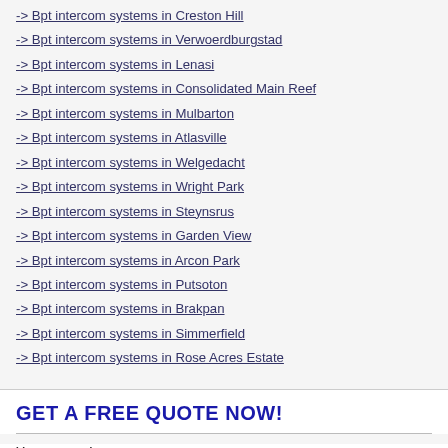-> Bpt intercom systems in Creston Hill
-> Bpt intercom systems in Verwoerdburgstad
-> Bpt intercom systems in Lenasi
-> Bpt intercom systems in Consolidated Main Reef
-> Bpt intercom systems in Mulbarton
-> Bpt intercom systems in Atlasville
-> Bpt intercom systems in Welgedacht
-> Bpt intercom systems in Wright Park
-> Bpt intercom systems in Steynsrus
-> Bpt intercom systems in Garden View
-> Bpt intercom systems in Arcon Park
-> Bpt intercom systems in Putsoton
-> Bpt intercom systems in Brakpan
-> Bpt intercom systems in Simmerfield
-> Bpt intercom systems in Rose Acres Estate
GET A FREE QUOTE NOW!
Your name: *
Your email: